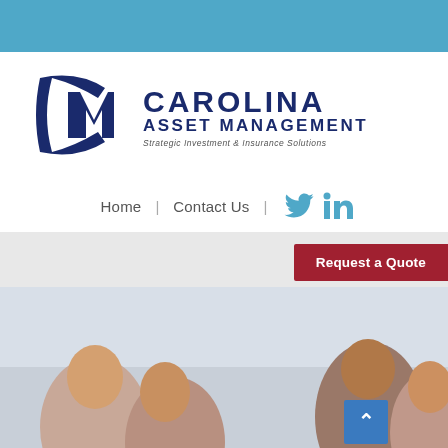[Figure (logo): Carolina Asset Management logo with blue CM monogram icon and company name text]
Home | Contact Us
[Figure (screenshot): Website screenshot showing Carolina Asset Management homepage with navigation, Request a Quote button, and photo of people at the bottom]
Request a Quote